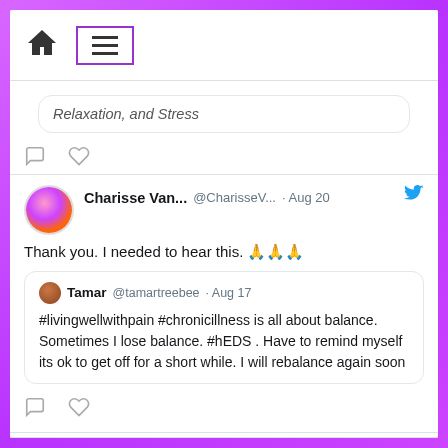[Figure (screenshot): Screenshot of a Twitter/social media feed interface with purple glitter border. Shows a navigation bar with home icon and hamburger menu (highlighted in purple border). Contains three tweet sections: a partial tweet showing 'Relaxation, and Stress', a main tweet from Charisse Van... (@CharisseV... Aug 20) saying 'Thank you. I needed to hear this. 🙏🙏🙏' with a quoted tweet from Tamar @tamartreebee Aug 17 '#livingwellwithpain #chronicillness is all about balance. Sometimes I lose balance. #hEDS . Have to remind myself its ok to get off for a short while. I will rebalance again soon', and a bottom partial tweet showing 'Charisse Van Horn Retweeted' and 'Leslie Alatorre @lesliiealatorre · Aug 18'.]